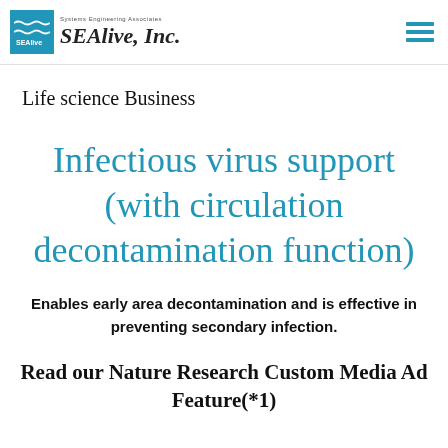SEAlive, Inc. — Systems Engineering Associates
Life science Business
Infectious virus support (with circulation decontamination function)
Enables early area decontamination and is effective in preventing secondary infection.
Read our Nature Research Custom Media Ad Feature(*1)